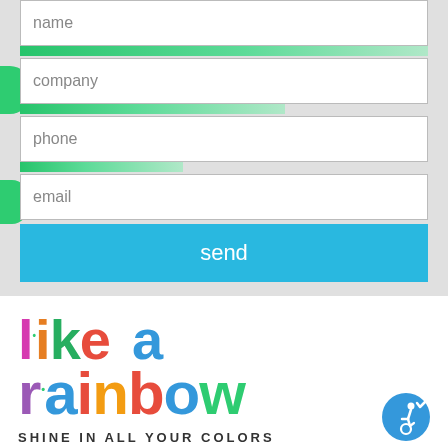name
company
phone
email
send
[Figure (logo): Like a Rainbow logo with multicolored text reading 'like a rainbow' and tagline 'SHINE IN ALL YOUR COLORS' with accessibility icon]
SHINE IN ALL YOUR COLORS